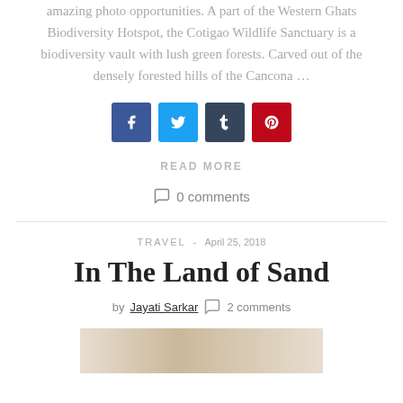amazing photo opportunities. A part of the Western Ghats Biodiversity Hotspot, the Cotigao Wildlife Sanctuary is a biodiversity vault with lush green forests. Carved out of the densely forested hills of the Cancona …
[Figure (infographic): Four social sharing icon buttons: Facebook (blue), Twitter (light blue), Tumblr (dark navy), Pinterest (red)]
READ MORE
0 comments
TRAVEL - April 25, 2018
In The Land of Sand
by Jayati Sarkar  2 comments
[Figure (photo): Partial thumbnail image of sandy landscape at the bottom of the page]